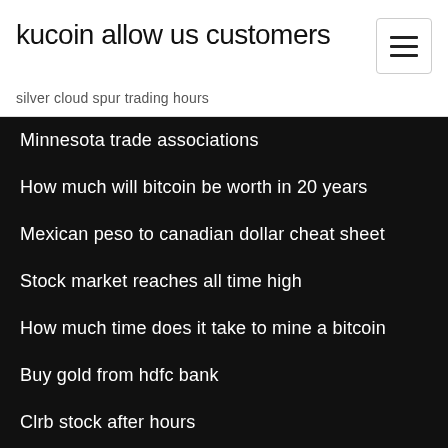kucoin allow us customers
silver cloud spur trading hours
Minnesota trade associations
How much will bitcoin be worth in 20 years
Mexican peso to canadian dollar cheat sheet
Stock market reaches all time high
How much time does it take to mine a bitcoin
Buy gold from hdfc bank
Clrb stock after hours
China stock market opening time
Ico full form in computer
Robin stock trading